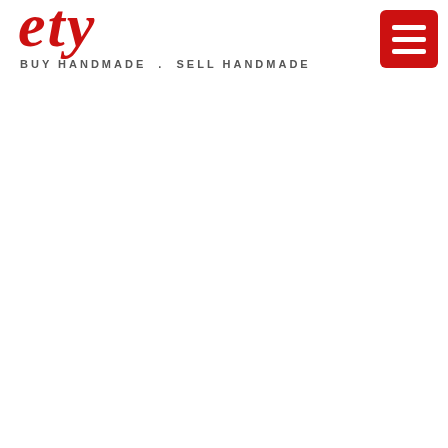[Figure (logo): Partial red italic script logo text (top portion visible) with tagline 'BUY HANDMADE . SELL HANDMADE' in gray spaced capitals beneath]
[Figure (other): Red square hamburger menu button with three white horizontal lines]